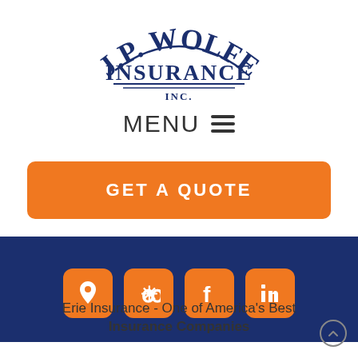[Figure (logo): J.P. Wolfe Insurance Inc. logo in dark navy blue, arched text style]
MENU ☰
GET A QUOTE
[Figure (infographic): Dark navy blue footer bar with four orange rounded-square social media icons: location pin, Yelp, Facebook, LinkedIn]
Erie Insurance - One of America's Best Insurance Companies